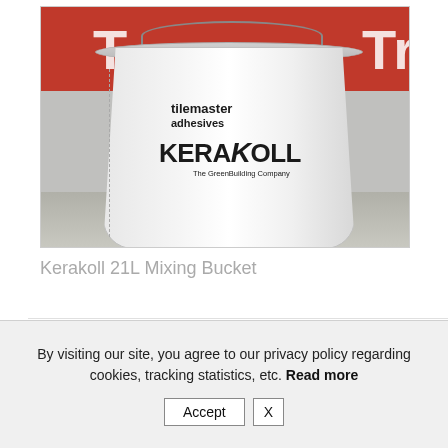[Figure (photo): A white plastic 21L mixing bucket with 'tilemaster adhesives' and 'KERAKOLL The GreenBuilding Company' branding, photographed against a red background banner. The bucket has a metal handle and measurement markings on the side.]
Kerakoll 21L Mixing Bucket
By visiting our site, you agree to our privacy policy regarding cookies, tracking statistics, etc. Read more